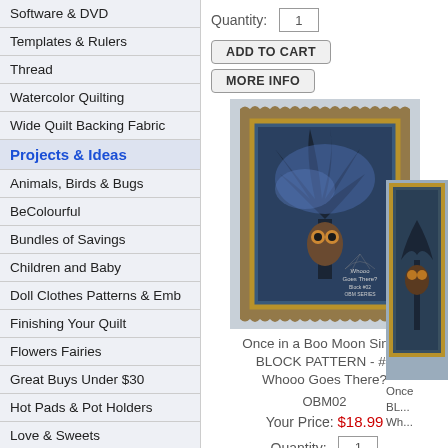Software & DVD
Templates & Rulers
Thread
Watercolor Quilting
Wide Quilt Backing Fabric
Projects & Ideas
Animals, Birds & Bugs
BeColourful
Bundles of Savings
Children and Baby
Doll Clothes Patterns & Emb
Finishing Your Quilt
Flowers Fairies
Great Buys Under $30
Hot Pads & Pot Holders
Love & Sweets
Man Cave Quilts
Quantity: 1
ADD TO CART
MORE INFO
[Figure (photo): Once in a Boo Moon quilt block pattern product image showing a decorative quilt with blue/teal fabric featuring an owl and tree design]
Once in a Boo Moon Single BLOCK PATTERN - #2 Whooo Goes There?
OBM02
Your Price: $18.99
Quantity: 1
[Figure (photo): Partial view of another Once in a Boo Moon block pattern product on the right edge]